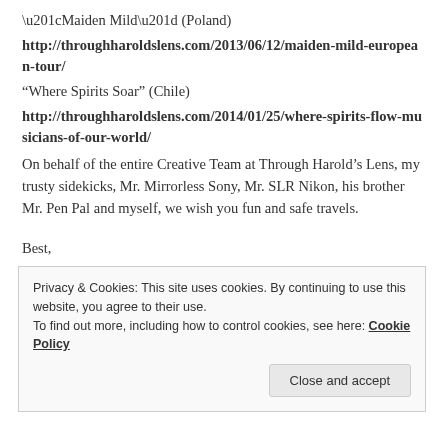“Maiden Mild” (Poland)
http://throughharoldslens.com/2013/06/12/maiden-mild-european-tour/
“Where Spirits Soar” (Chile)
http://throughharoldslens.com/2014/01/25/where-spirits-flow-musicians-of-our-world/
On behalf of the entire Creative Team at Through Harold’s Lens, my trusty sidekicks, Mr. Mirrorless Sony, Mr. SLR Nikon, his brother Mr. Pen Pal and myself, we wish you fun and safe travels.
Best,
Harold
Privacy & Cookies: This site uses cookies. By continuing to use this website, you agree to their use.
To find out more, including how to control cookies, see here: Cookie Policy
Close and accept